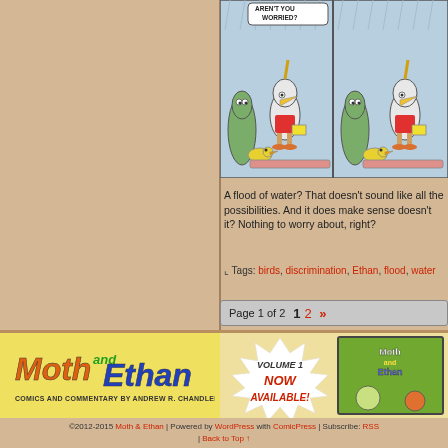[Figure (illustration): Comic strip panel showing cartoon birds (ducks/pelicans) and a green creature walking in rain. Speech bubble reads 'AREN'T YOU WORRIED?' Blue background with rain lines.]
A flood of water? That doesn't sound like all the possibilities. And it does make sense doesn't it? Nothing to worry about, right?
Tags: birds, discrimination, Ethan, flood, water
Page 1 of 2   1   2   »
[Figure (illustration): Banner advertisement for Moth and Ethan webcomic. Left side has orange/green/blue stylized logo text 'Moth and Ethan — Comics and Commentary by Andrew R. Chandler'. Right side has starburst saying 'VOLUME 1 NOW AVAILABLE!' with book cover image.]
©2012-2015 Moth & Ethan | Powered by WordPress with ComicPress | Subscribe: RSS | Back to Top ↑